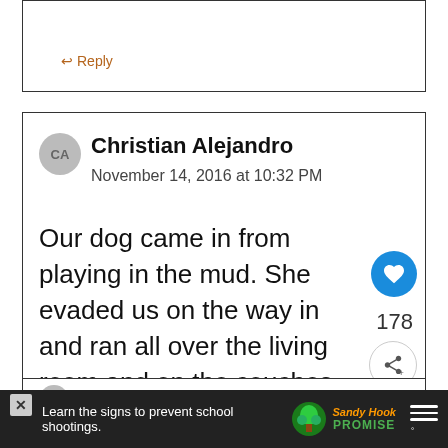Reply
Christian Alejandro
November 14, 2016 at 10:32 PM

Our dog came in from playing in the mud. She evaded us on the way in and ran all over the living room and on the couches.
178
Reply
[Figure (screenshot): WHAT'S NEXT arrow label with thumbnail image for Luv & Emma's Microfiber...]
Vikki Billings
[Figure (screenshot): Advertisement bar: Learn the signs to prevent school shootings. Sandy Hook Promise logo.]